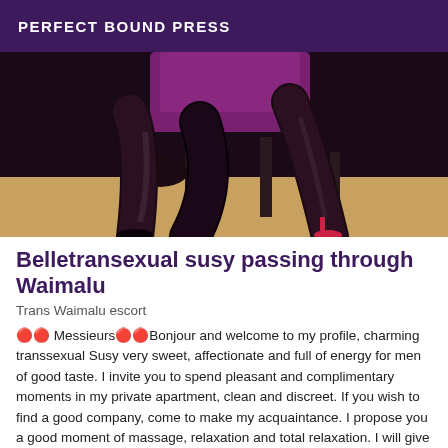PERFECT BOUND PRESS
[Figure (photo): Cropped photo showing legs of a person wearing black stockings and a short purple/pink dress, seated on a dark stool, with a wooden floor background.]
Belletransexual susy passing through Waimalu
Trans Waimalu escort
🔴🔴 Messieurs🔴🔴Bonjour and welcome to my profile, charming transsexual Susy very sweet, affectionate and full of energy for men of good taste. I invite you to spend pleasant and complimentary moments in my private apartment, clean and discreet. If you wish to find a good company, come to make my acquaintance. I propose you a good moment of massage, relaxation and total relaxation. I will give you a lot of pleasure WITH my